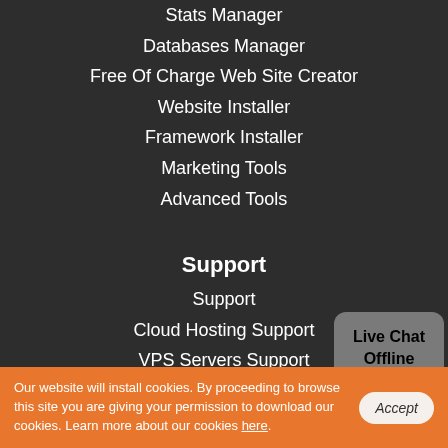Stats Manager
Databases Manager
Free Of Charge Web Site Creator
Website Installer
Framework Installer
Marketing Tools
Advanced Tools
Support
Support
Cloud Hosting Support
VPS Servers Support
Semi-dedicated Servers Support
Dedicated Servers Support
Dedicated Optional Admin Services
VPS Optional Admin Services
[Figure (other): Live Chat Offline chat bubble widget in gray]
Our website will install cookies. By proceeding to browse this site you are giving your permission to download our cookies. Learn more about our cookies here.